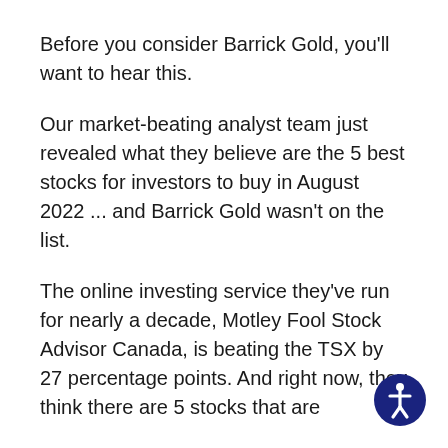Before you consider Barrick Gold, you'll want to hear this.
Our market-beating analyst team just revealed what they believe are the 5 best stocks for investors to buy in August 2022 ... and Barrick Gold wasn't on the list.
The online investing service they've run for nearly a decade, Motley Fool Stock Advisor Canada, is beating the TSX by 27 percentage points. And right now, they think there are 5 stocks that are
[Figure (illustration): Accessibility icon — white stick figure person in a circle on a dark navy blue background, positioned in the bottom-right corner of the page.]